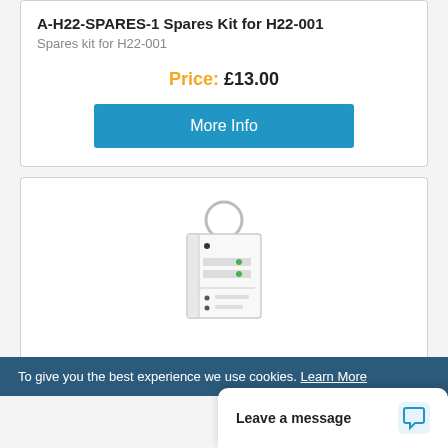A-H22-SPARES-1 Spares Kit for H22-001
Spares kit for H22-001
Price: £13.00
More Info
[Figure (photo): Photo of a small electronic device/controller with a looped cable at the top and labeled ports on the front panel]
To give you the best experience we use cookies. Learn More
Leave a message